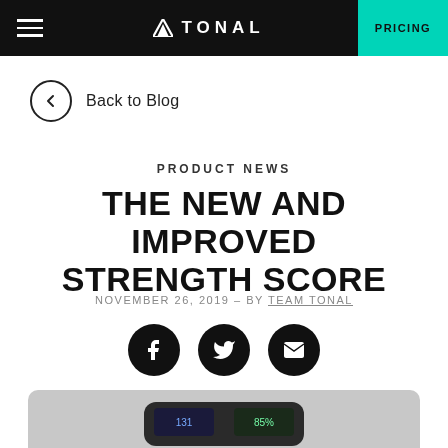TONAL | PRICING
Back to Blog
PRODUCT NEWS
THE NEW AND IMPROVED STRENGTH SCORE
NOVEMBER 26, 2019 – BY TEAM TONAL
[Figure (infographic): Social share icons: Facebook, Twitter, Email]
[Figure (photo): Partial view of a Tonal fitness device screen at the bottom of the page]